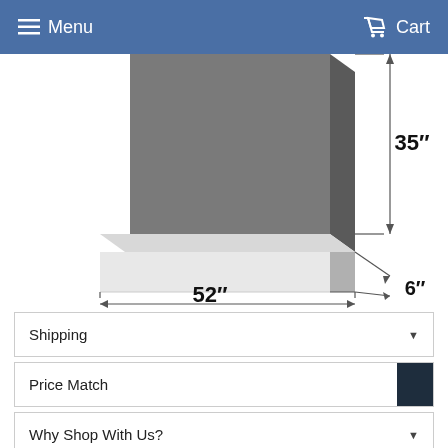Menu  Cart
[Figure (engineering-diagram): 3D isometric engineering diagram of a display stand base showing dimensions: 52 inches wide, 35 inches tall, 6 inches deep base height. The stand has a rectangular vertical panel (shown in gray) mounted on a wide rectangular base (shown in light gray/white).]
Shipping ▼
Price Match
Why Shop With Us? ▼